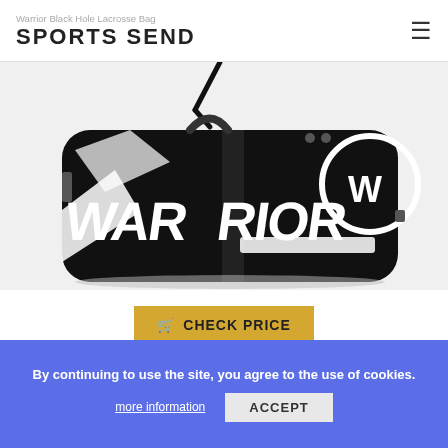Warrior Black Hole Lacrosse Bag | SPORTS SEND
[Figure (photo): Warrior Black Hole Lacrosse Bag — large black duffel bag with white WARRIOR text and warrior logo on the side, shown with shoulder strap]
CHECK PRICE
By continuing to use the site, you agree to the use of cookies.
more information
ACCEPT
The Warrior Black Hole is one of the most popular lacrosse bags. You will rarely walk into a locker room and not see it. So why do people love this bag so